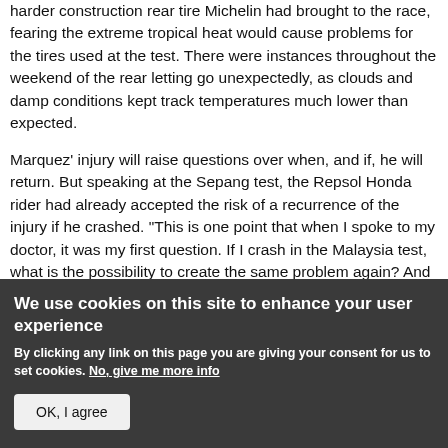harder construction rear tire Michelin had brought to the race, fearing the extreme tropical heat would cause problems for the tires used at the test. There were instances throughout the weekend of the rear letting go unexpectedly, as clouds and damp conditions kept track temperatures much lower than expected.
Marquez' injury will raise questions over when, and if, he will return. But speaking at the Sepang test, the Repsol Honda rider had already accepted the risk of a recurrence of the injury if he crashed. "This is one point that when I spoke to my doctor, it was my first question. If I crash in the Malaysia test, what is the possibility to create the same problem again? And the answer was
We use cookies on this site to enhance your user experience
By clicking any link on this page you are giving your consent for us to set cookies. No, give me more info
OK, I agree